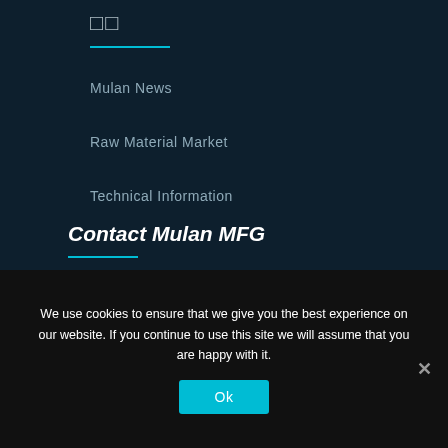□□
Mulan News
Raw Material Market
Technical Information
Contact Mulan MFG
We use cookies to ensure that we give you the best experience on our website. If you continue to use this site we will assume that you are happy with it.